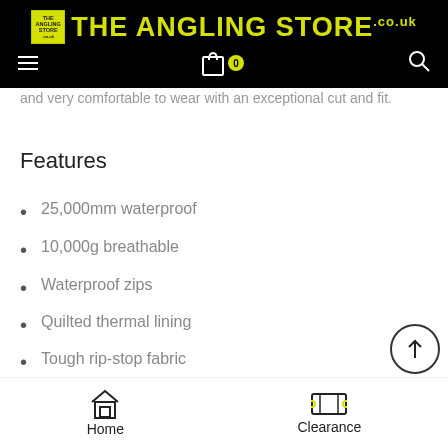THE ANGLING STORE .co.uk
and very comfortable to wear with an exceptional cut and fit.
Features
25,000mm waterproof
10,000g breathable
Waterproof zips
Quilted thermal lining
Tough rip-stop fabric
Adjustable elasticated shoulder straps
Home   Clearance